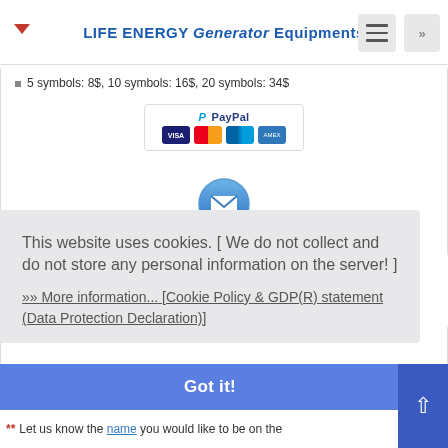LIFE ENERGY Generator Equipments
5 symbols: 8$, 10 symbols: 16$, 20 symbols: 34$
[Figure (logo): PayPal payment badge with VISA, Mastercard, Maestro, and American Express card icons]
[Figure (illustration): Blue circular email/envelope icon]
Orders by Email
This website uses cookies. [ We do not collect and do not store any personal information on the server! ]
»» More information... [Cookie Policy & GDP(R) statement (Data Protection Declaration)]
Got it!
** Let us know the name you would like to be on the